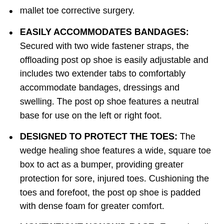mallet toe corrective surgery.
EASILY ACCOMMODATES BANDAGES: Secured with two wide fastener straps, the offloading post op shoe is easily adjustable and includes two extender tabs to comfortably accommodate bandages, dressings and swelling. The post op shoe features a neutral base for use on the left or right foot.
DESIGNED TO PROTECT THE TOES: The wedge healing shoe features a wide, square toe box to act as a bumper, providing greater protection for sore, injured toes. Cushioning the toes and forefoot, the post op shoe is padded with dense foam for greater comfort.
LIGHTWEIGHT NONSKID BASE: Exceptionally lightweight, the offloading surgical walking boot base is made with a durable rubber. The rigid base is deeply textured to provide greater traction and stability on any sur...